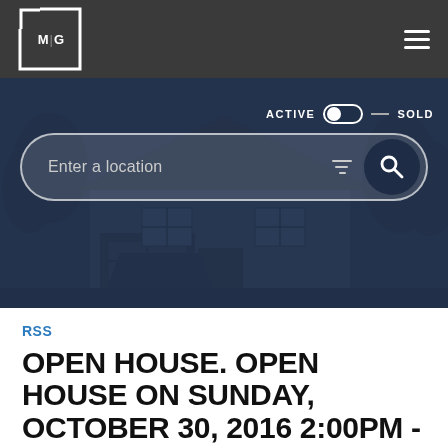[Figure (screenshot): Website header with MG logo on dark background and hamburger menu icon]
[Figure (photo): Hero banner showing a house photo with dark blue overlay, Active/Sold toggle, and a location search bar with filter and search icons]
RSS
OPEN HOUSE. OPEN HOUSE ON SUNDAY, OCTOBER 30, 2016 2:00PM - 4:00PM